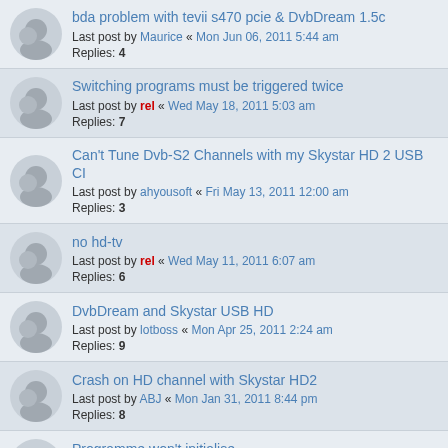bda problem with tevii s470 pcie & DvbDream 1.5c
Last post by Maurice « Mon Jun 06, 2011 5:44 am
Replies: 4
Switching programs must be triggered twice
Last post by rel « Wed May 18, 2011 5:03 am
Replies: 7
Can't Tune Dvb-S2 Channels with my Skystar HD 2 USB CI
Last post by ahyousoft « Fri May 13, 2011 12:00 am
Replies: 3
no hd-tv
Last post by rel « Wed May 11, 2011 6:07 am
Replies: 6
DvbDream and Skystar USB HD
Last post by lotboss « Mon Apr 25, 2011 2:24 am
Replies: 9
Crash on HD channel with Skystar HD2
Last post by ABJ « Mon Jan 31, 2011 8:44 pm
Replies: 8
Programme won't initialise
Last post by rel « Tue Nov 02, 2010 9:33 am
Replies: 2
Windows 7 (32) Crash